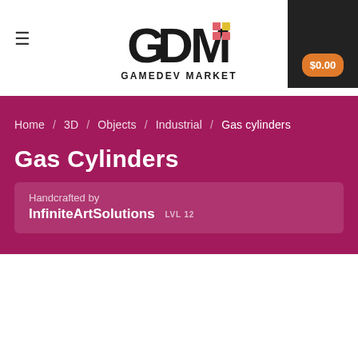[Figure (logo): GDM GameDev Market logo with colorful pixel accent and wordmark]
$0.00
Home / 3D / Objects / Industrial / Gas cylinders
Gas Cylinders
Handcrafted by InfiniteArtSolutions LVL 12